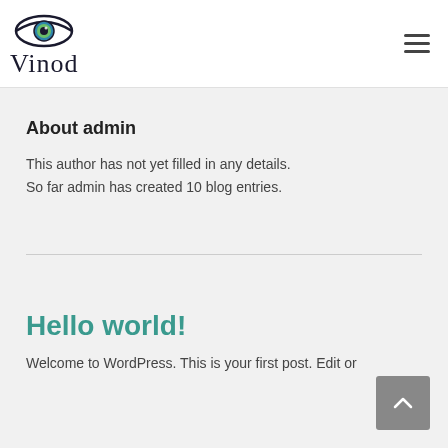Vinod
About admin
This author has not yet filled in any details.
So far admin has created 10 blog entries.
Hello world!
Welcome to WordPress. This is your first post. Edit or